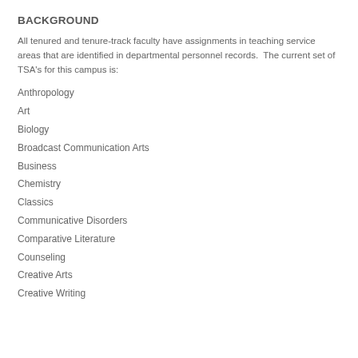BACKGROUND
All tenured and tenure-track faculty have assignments in teaching service areas that are identified in departmental personnel records.  The current set of TSA's for this campus is:
Anthropology
Art
Biology
Broadcast Communication Arts
Business
Chemistry
Classics
Communicative Disorders
Comparative Literature
Counseling
Creative Arts
Creative Writing